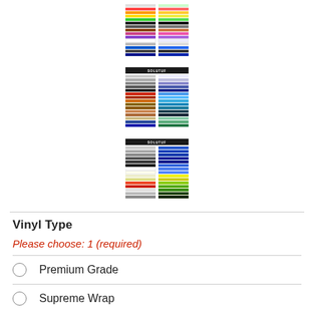[Figure (illustration): Color swatch chart 1 showing rows of colored vinyl samples in various colors]
[Figure (illustration): Color swatch chart 2 with a black header bar labeled with brand name, showing rows of colored vinyl samples]
[Figure (illustration): Color swatch chart 3 with a black header bar labeled with brand name, showing rows of colored vinyl samples]
Vinyl Type
Please choose: 1 (required)
Premium Grade
Supreme Wrap